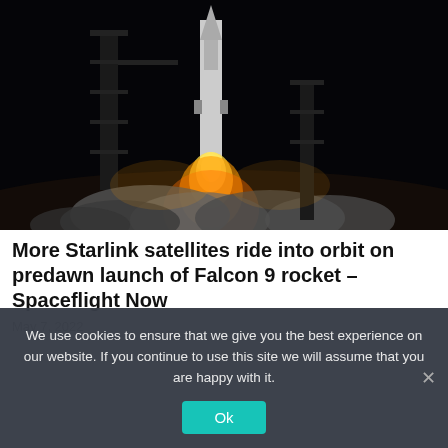[Figure (photo): Nighttime rocket launch (Falcon 9) lifting off with bright flame and smoke clouds, launch tower visible, dark sky background]
More Starlink satellites ride into orbit on predawn launch of Falcon 9 rocket – Spaceflight Now
May 7, 2022
We use cookies to ensure that we give you the best experience on our website. If you continue to use this site we will assume that you are happy with it.